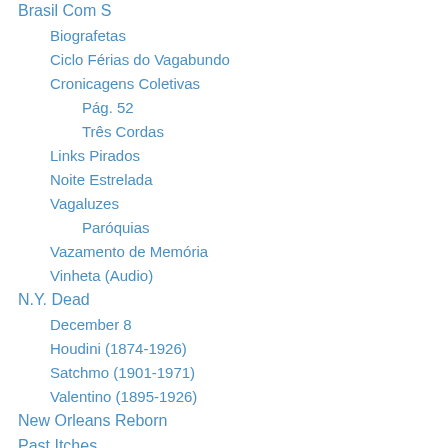Brasil Com S
Biografetas
Ciclo Férias do Vagabundo
Cronicagens Coletivas
Pág. 52
Três Cordas
Links Pirados
Noite Estrelada
Vagaluzes
Paróquias
Vazamento de Memória
Vinheta (Audio)
N.Y. Dead
December 8
Houdini (1874-1926)
Satchmo (1901-1971)
Valentino (1895-1926)
New Orleans Reborn
Past Itches